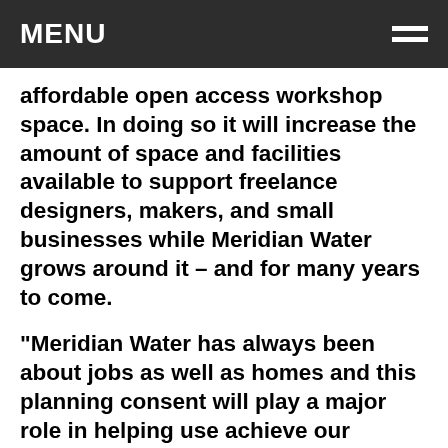MENU
affordable open access workshop space. In doing so it will increase the amount of space and facilities available to support freelance designers, makers, and small businesses while Meridian Water grows around it – and for many years to come.
“Meridian Water has always been about jobs as well as homes and this planning consent will play a major role in helping use achieve our aspiration of providing a range of good quality creative jobs on the site.”
Al Parra from Building BloQs said:“